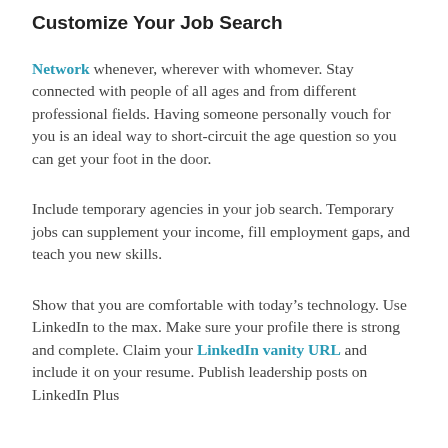Customize Your Job Search
Network whenever, wherever with whomever. Stay connected with people of all ages and from different professional fields. Having someone personally vouch for you is an ideal way to short-circuit the age question so you can get your foot in the door.
Include temporary agencies in your job search. Temporary jobs can supplement your income, fill employment gaps, and teach you new skills.
Show that you are comfortable with today’s technology. Use LinkedIn to the max. Make sure your profile there is strong and complete. Claim your LinkedIn vanity URL and include it on your resume. Publish leadership posts on LinkedIn Plus